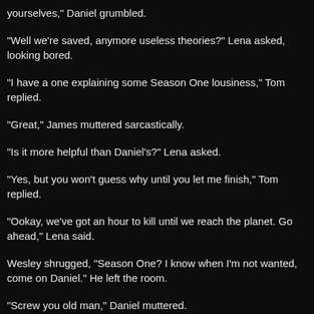yourselves," Daniel grumbled.
"Well we're saved, anymore useless theories?" Lena asked, looking bored.
"I have a one explaining some Season One lousiness," Tom replied.
"Great," James muttered sarcastically.
"Is it more helpful than Daniel's?" Lena asked.
"Yes, but you won't guess why until you let me finish," Tom replied.
"Ookay, we've got an hour to kill until we reach the planet. Go ahead," Lena said.
Wesley shrugged, "Season One? I know when I'm not wanted, come on Daniel." He left the room.
"Screw you old man," Daniel muttered.
"Right I'll keep it simple. Lena, do you remember how James was when you first met him?" Tom asked.
James looked confused, "how is that useful?"
Tom pointed a finger at him, "what did I just say."
"Fine," James groaned.
"Well ok, he was like a kid, ok bigger kid. Not so aggressive and a bit...